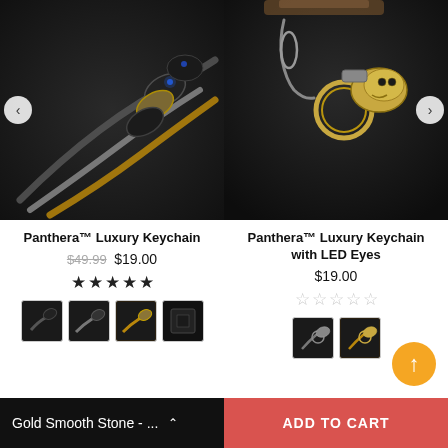[Figure (photo): Product photo of Panthera Luxury Keychain showing multiple keychains with braided cord in black, gold, and silver on dark background]
[Figure (photo): Product photo of Panthera Luxury Keychain with LED Eyes showing ornate brass keychain on dark background]
Panthera™ Luxury Keychain
$49.99 $19.00
[Figure (other): 5 filled stars rating]
[Figure (other): 4 thumbnail images of keychain product variants]
Panthera™ Luxury Keychain with LED Eyes
$19.00
[Figure (other): 5 empty stars rating]
[Figure (other): 2 thumbnail images of keychain product variants]
Gold Smooth Stone - ...
ADD TO CART